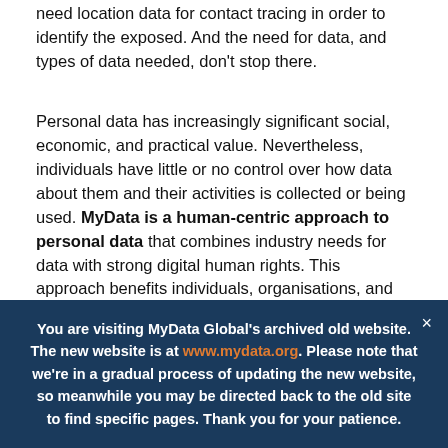need location data for contact tracing in order to identify the exposed. And the need for data, and types of data needed, don't stop there.
Personal data has increasingly significant social, economic, and practical value. Nevertheless, individuals have little or no control over how data about them and their activities is collected or being used. MyData is a human-centric approach to personal data that combines industry needs for data with strong digital human rights. This approach benefits individuals, organisations, and society at large.
For these benefits to become a reality, we need to adopt
You are visiting MyData Global's archived old website. The new website is at www.mydata.org. Please note that we're in a gradual process of updating the new website, so meanwhile you may be directed back to the old site to find specific pages. Thank you for your patience.